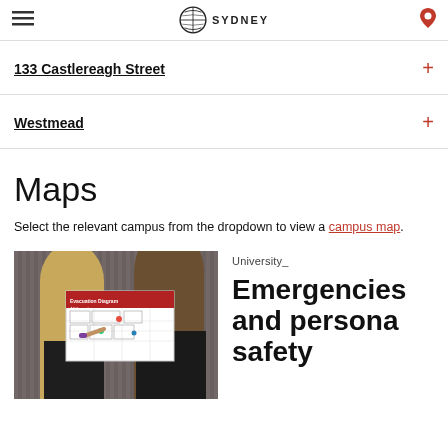SYDNEY (University of Sydney logo)
133 Castlereagh Street
Westmead
Maps
Select the relevant campus from the dropdown to view a campus map.
[Figure (photo): Two people looking at an Evacuation Diagram map on a wall]
University_
Emergencies and personal safety